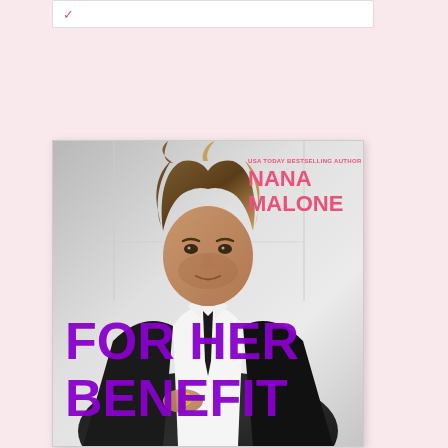[Figure (illustration): Partial top of a white card with a pink checkmark/v icon visible at the top edge of the page.]
[Figure (photo): Book cover for 'For Her Benefit' by Nana Malone (USA Today Bestselling Author). Shows a handsome man with medium-length tousled brown hair wearing a black suit with white shirt, looking directly at the viewer with a serious expression. Background is light grey/white studio setting. Author name 'NANA MALONE' appears in bold pink text at top right. Book title 'FOR HER BENEFIT' appears in large bold purple text overlaid on the lower portion of the cover.]